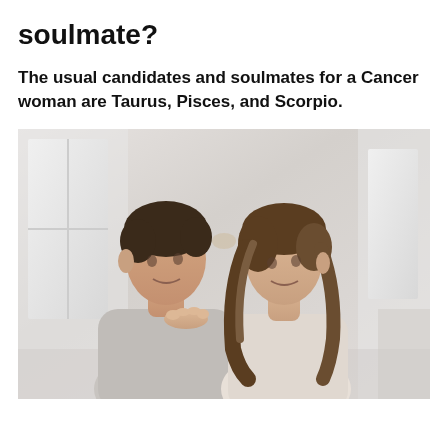soulmate?
The usual candidates and soulmates for a Cancer woman are Taurus, Pisces, and Scorpio.
[Figure (photo): A young couple facing each other closely, foreheads nearly touching, in an intimate pose in a bright indoor setting. The man has short dark hair and wears a light gray shirt; the woman has long brown wavy hair and wears a light top. The woman's hand rests on the man's shoulder.]